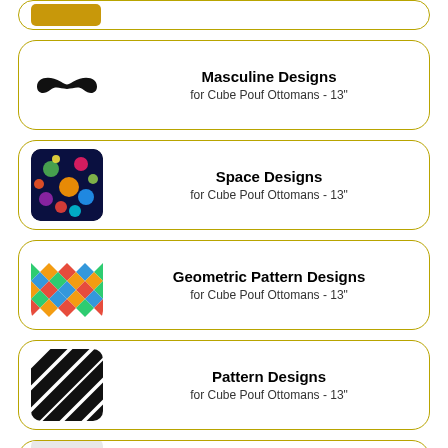[Figure (illustration): Partial top card with a golden button/badge visible at top]
Masculine Designs for Cube Pouf Ottomans - 13"
Space Designs for Cube Pouf Ottomans - 13"
Geometric Pattern Designs for Cube Pouf Ottomans - 13"
Pattern Designs for Cube Pouf Ottomans - 13"
Moon Designs